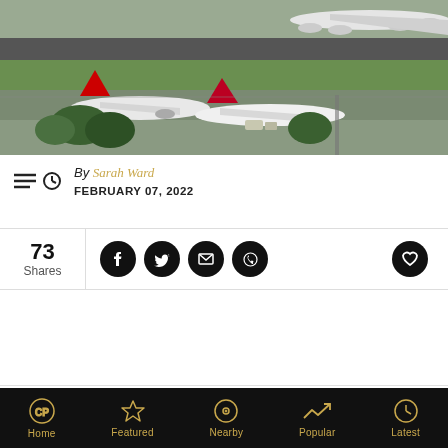[Figure (photo): Aerial view of airport tarmac with Qantas and Virgin Australia aircraft parked on runways and taxiways, green grass areas visible, overcast sky.]
By Sarah Ward
FEBRUARY 07, 2022
73 Shares
Home | Featured | Nearby | Popular | Latest